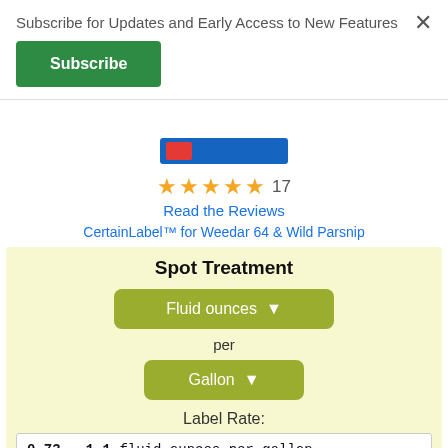Subscribe for Updates and Early Access to New Features
Subscribe
×
[Figure (screenshot): Partial product image bar with blue background and red badge, partially cropped]
★★★★★ 17
Read the Reviews
CertainLabel™ for Weedar 64 & Wild Parsnip
Spot Treatment
Fluid ounces ▾
per
Gallon ▾
Label Rate:
0.73 - 1.1 fluid ounces per gallon